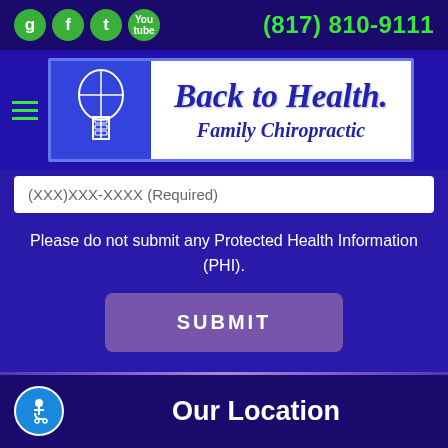(817) 810-9111
[Figure (logo): Back to Health Family Chiropractic logo with spine illustration on blue background]
(XXX)XXX-XXXX (Required)
Please do not submit any Protected Health Information (PHI).
SUBMIT
Our Location